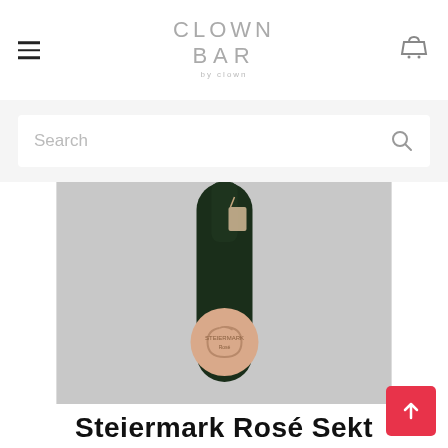CLOWN BAR (logo) with hamburger menu and basket icon
Search
[Figure (photo): A dark green sparkling wine bottle with a pink circular spiral label reading 'Steiermark Rosé' on a light grey background. A small tag is attached to the bottle neck.]
Steiermark Rosé Sekt